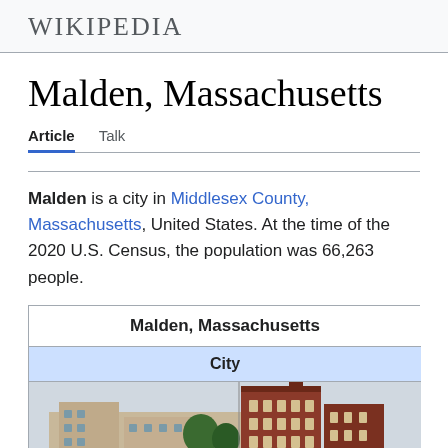Wikipedia
Malden, Massachusetts
Article   Talk
Malden is a city in Middlesex County, Massachusetts, United States. At the time of the 2020 U.S. Census, the population was 66,263 people.
| Malden, Massachusetts |
| --- |
| City |
| [photo of buildings] |